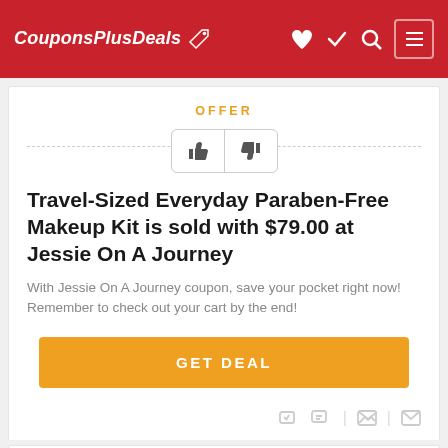CouponsPlusDeals
OFFER
Travel-Sized Everyday Paraben-Free Makeup Kit is sold with $79.00 at Jessie On A Journey
With Jessie On A Journey coupon, save your pocket right now! Remember to check out your cart by the end!
GET DEAL